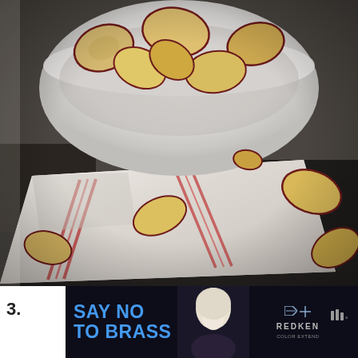[Figure (photo): A white bowl filled with dried apple chips, placed on a folded white and red striped kitchen towel on a dark surface, with additional apple chips scattered around]
3.
[Figure (infographic): Advertisement banner with dark background showing 'SAY NO TO BRASS' in large blue text, a woman with light blonde hair, Redken logo, and navigation/play icons]